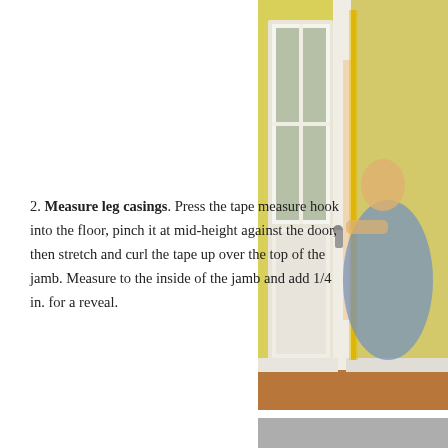2. Measure leg casings. Press the tape measure hook into the floor, pinch it at mid-height against the door, then stretch and curl the tape up over the top of the jamb. Measure to the inside of the jamb and add 1/4 in. for a reveal.
[Figure (photo): A person measuring the leg casing of a door with a tape measure. The door has frosted glass panels and is set against a yellow wall. The person is holding the tape measure vertically along the door frame.]
[Figure (photo): Partial view of another photo at the bottom right of the page, showing a grey surface.]